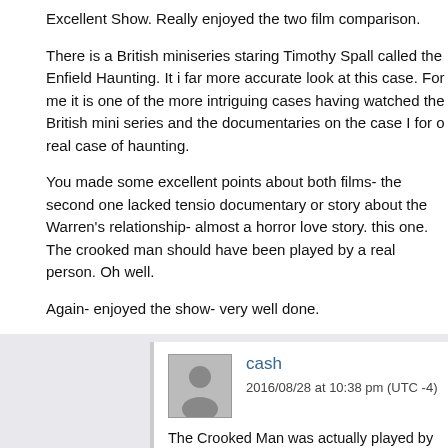Excellent Show. Really enjoyed the two film comparison.
There is a British miniseries staring Timothy Spall called the Enfield Haunting. It i far more accurate look at this case. For me it is one of the more intriguing cases having watched the British mini series and the documentaries on the case I for o real case of haunting.
You made some excellent points about both films- the second one lacked tensio documentary or story about the Warren's relationship- almost a horror love story. this one. The crooked man should have been played by a real person. Oh well.
Again- enjoyed the show- very well done.
cash
2016/08/28 at 10:38 pm (UTC -4)
The Crooked Man was actually played by Javier Botet. We failed to m shaking our heads at the dog transformation silliness that ruined the w for listening!
Leave a Reply to Rory_Congi
Cancel reply